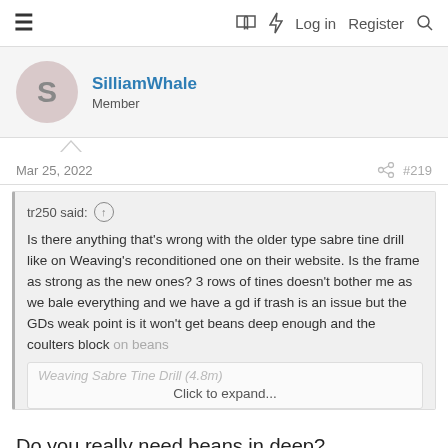≡  [book icon] [lightning icon]  Log in  Register  [search icon]
SilliamWhale
Member
Mar 25, 2022  #219
tr250 said: ↑
Is there anything that's wrong with the older type sabre tine drill like on Weaving's reconditioned one on their website. Is the frame as strong as the new ones? 3 rows of tines doesn't bother me as we bale everything and we have a gd if trash is an issue but the GDs weak point is it won't get beans deep enough and the coulters block on beans
Weaving Sabre Tine Drill (4.8m)
Click to expand...
Do you really need beans in deep?
Reply